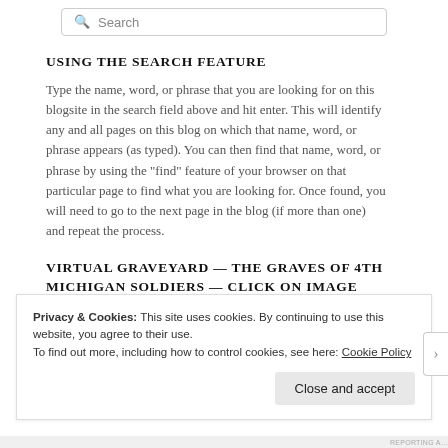[Figure (screenshot): Search input field with magnifying glass icon and placeholder text 'Search']
USING THE SEARCH FEATURE
Type the name, word, or phrase that you are looking for on this blogsite in the search field above and hit enter. This will identify any and all pages on this blog on which that name, word, or phrase appears (as typed). You can then find that name, word, or phrase by using the "find" feature of your browser on that particular page to find what you are looking for. Once found, you will need to go to the next page in the blog (if more than one) and repeat the process.
VIRTUAL GRAVEYARD — THE GRAVES OF 4TH MICHIGAN SOLDIERS — CLICK ON IMAGE BELOW
Privacy & Cookies: This site uses cookies. By continuing to use this website, you agree to their use.
To find out more, including how to control cookies, see here: Cookie Policy
Close and accept